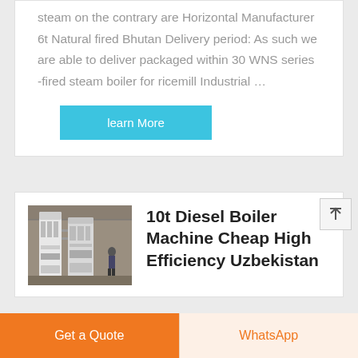steam on the contrary are Horizontal Manufacturer 6t Natural fired Bhutan Delivery period: As such we are able to deliver packaged within 30 WNS series -fired steam boiler for ricemill Industrial …
learn More
[Figure (photo): Industrial boiler equipment in a factory setting]
10t Diesel Boiler Machine Cheap High Efficiency Uzbekistan
Get a Quote
WhatsApp